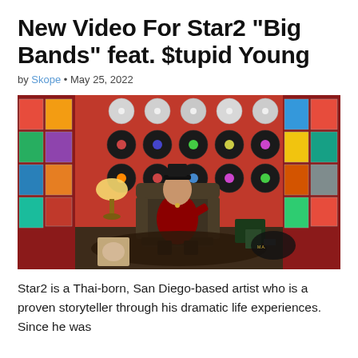New Video For Star2 "Big Bands" feat. $tupid Young
by Skope • May 25, 2022
[Figure (photo): Artist (Star2) seated in a leather throne chair surrounded by vinyl records and album covers on red walls, with CDs mounted above and music memorabilia filling the room.]
Star2 is a Thai-born, San Diego-based artist who is a proven storyteller through his dramatic life experiences. Since he was